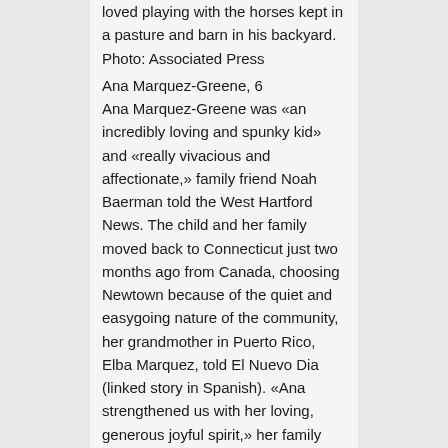loved playing with the horses kept in a pasture and barn in his backyard. Photo: Associated Press
Ana Marquez-Greene, 6
Ana Marquez-Greene was «an incredibly loving and spunky kid» and «really vivacious and affectionate,» family friend Noah Baerman told the West Hartford News. The child and her family moved back to Connecticut just two months ago from Canada, choosing Newtown because of the quiet and easygoing nature of the community, her grandmother in Puerto Rico, Elba Marquez, told El Nuevo Dia (linked story in Spanish). «Ana strengthened us with her loving, generous joyful spirit,» her family said in a statement, remarking on her love of singing, dancing and reading the Bible. «She never walked anywhere — her mode of transportation was dance,»